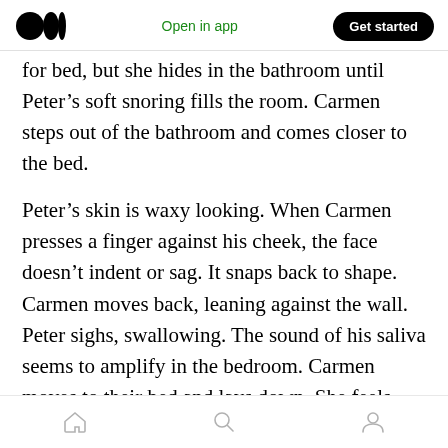Open in app | Get started
for bed, but she hides in the bathroom until Peter’s soft snoring fills the room. Carmen steps out of the bathroom and comes closer to the bed.
Peter’s skin is waxy looking. When Carmen presses a finger against his cheek, the face doesn’t indent or sag. It snaps back to shape. Carmen moves back, leaning against the wall. Peter sighs, swallowing. The sound of his saliva seems to amplify in the bedroom. Carmen moves to their bed and lays down. She feels stiff and she can’t even bring herself to touch Peter again. She
Home | Search | Profile